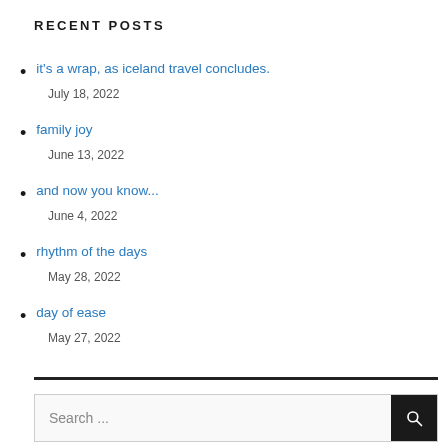RECENT POSTS
it's a wrap, as iceland travel concludes.
July 18, 2022
family joy
June 13, 2022
and now you know...
June 4, 2022
rhythm of the days
May 28, 2022
day of ease
May 27, 2022
Search ...